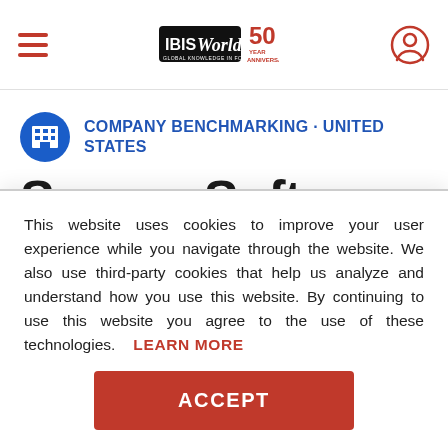IBISWorld 50th Anniversary — navigation header
COMPANY BENCHMARKING · UNITED STATES
Syspro Software Pt...
This website uses cookies to improve your user experience while you navigate through the website. We also use third-party cookies that help us analyze and understand how you use this website. By continuing to use this website you agree to the use of these technologies. LEARN MORE
ACCEPT